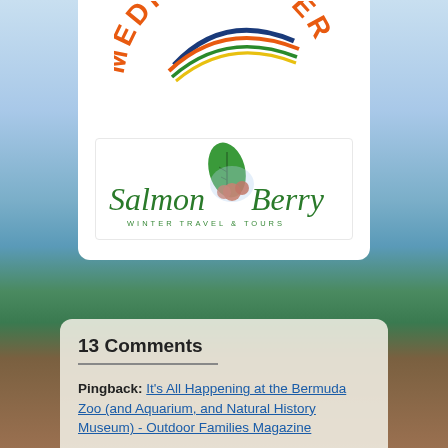[Figure (logo): Media Member badge with orange arc text reading 'MEDIA MEMBER' and colorful swoosh design]
[Figure (logo): Salmonberry Winter Travel & Tours logo with green script text and berry/leaf illustration]
13 Comments
Pingback: It's All Happening at the Bermuda Zoo (and Aquarium, and Natural History Museum) - Outdoor Families Magazine